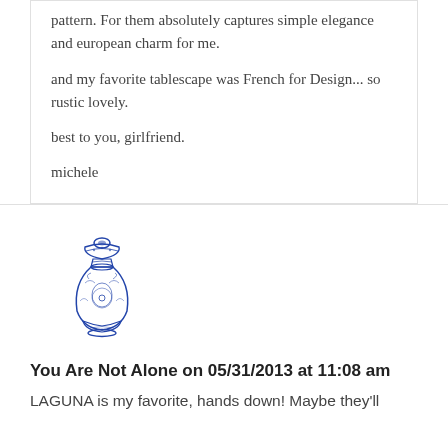pattern. For them, absolutely captures simple elegance and european charm for me.
and my favorite tablescape was French for Design... so rustic lovely.
best to you, girlfriend.
michele
[Figure (illustration): Blue and white decorative Chinese-style ginger jar / vase illustration]
You Are Not Alone on 05/31/2013 at 11:08 am
LAGUNA is my favorite, hands down! Maybe they'll